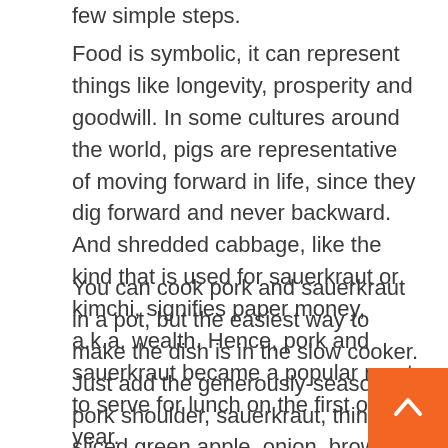few simple steps.
Food is symbolic, it can represent things like longevity, prosperity and goodwill. In some cultures around the world, pigs are representative of moving forward in life, since they dig forward and never backward. And shredded cabbage, like the kind that is used for sauerkraut or kimchi, signifies paper money, a.k.a. wealth. Hence, pork and sauerkraut became a popular meat to serve for lunch on the first of the year.
You can cook pork and sauerkraut in a pot, but the easiest way to make the dish is in the slow cooker. Just add the generously-seasoned pork shoulder, sauerkraut, thinly-sliced green apple, onion, brown sugar, apple cider and seasonings to the kitchen device. Cook on low for eight to 10 hours, you'll know if the pork is done when it easily falls off the bone and